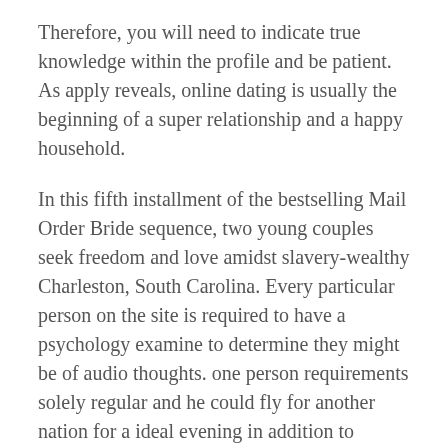Therefore, you will need to indicate true knowledge within the profile and be patient. As apply reveals, online dating is usually the beginning of a super relationship and a happy household.
In this fifth installment of the bestselling Mail Order Bride sequence, two young couples seek freedom and love amidst slavery-wealthy Charleston, South Carolina. Every particular person on the site is required to have a psychology examine to determine they might be of audio thoughts. one person requirements solely regular and he could fly for another nation for a ideal evening in addition to someone requires significantly more moment for falling in love with a person he has chatted simply online.